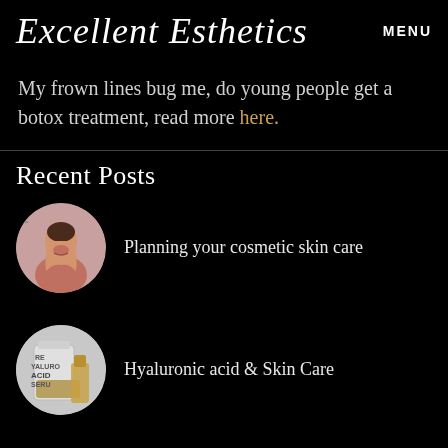Excellent Esthetics   MENU
My frown lines bug me, do young people get a botox treatment, read more here.
Recent Posts
[Figure (photo): Circular thumbnail of a smiling woman with long dark hair on a pink background]
Planning your cosmetic skin care
[Figure (photo): Circular thumbnail showing a hyaluronic acid serum product bottle]
Hyaluronic acid & Skin Care